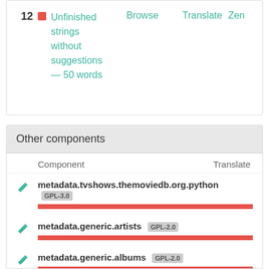|  |  | Unfinished strings without suggestions — 50 words | Browse | Translate | Zen |
| --- | --- | --- | --- | --- | --- |
| 12 |  | Unfinished strings without suggestions — 50 words | Browse | Translate | Zen |
Other components
| Component | Translate |
| --- | --- |
| metadata.tvshows.themoviedb.org.python GPL-3.0 |  |
| metadata.generic.artists GPL-2.0 |  |
| metadata.generic.albums GPL-2.0 |  |
| metadata.universal GPL-2.0 |  |